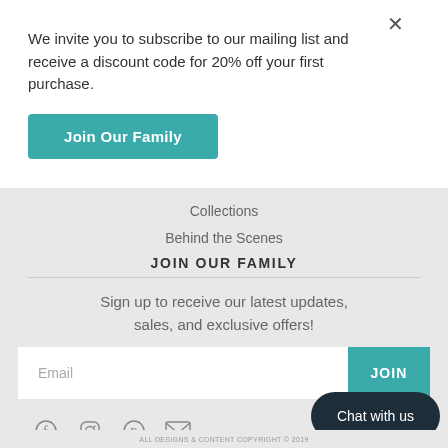We invite you to subscribe to our mailing list and receive a discount code for 20% off your first purchase.
Join Our Family
Collections
Behind the Scenes
JOIN OUR FAMILY
Sign up to receive our latest updates, sales, and exclusive offers!
Email
JOIN
Chat with us
ALL DESIGNS & CONTENT COPYRIGHT © 2019